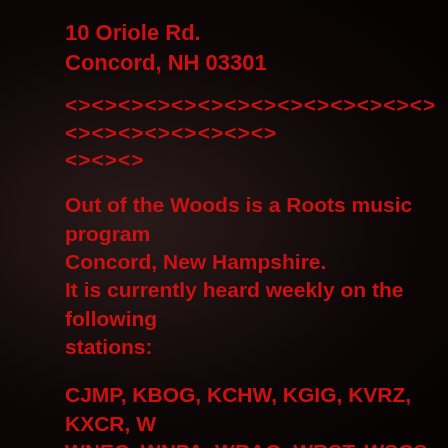10 Oriole Rd.
Concord, NH 03301
<><><><><><><><><><><><><><><><><><><><><><>
<><><>
Out of the Woods is a Roots music program based in Concord, New Hampshire.
It is currently heard weekly on the following stations:
CJMP, KBOG, KCHW, KGIG, KVRZ, KXCR, W... WNEC, WNPA, WRAQ, WRST, WSCS, WYAP, WXHR, Global Community Radio, Bluegrass Radio, Boston Free Radio, Bumps Radio, Th... Voice, Homelands Radio, Radio Tucker, Sho...